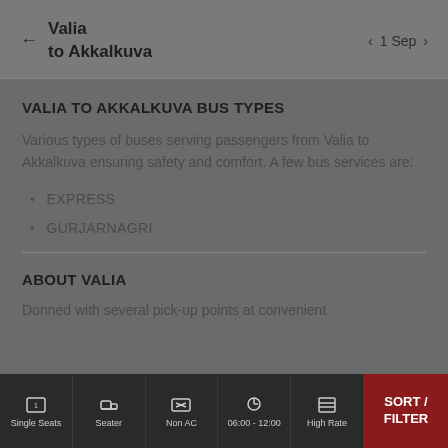Valia to Akkalkuva | 1 Sep
VALIA TO AKKALKUVA BUS TYPES
Various types of buses serving passengers from Valia to Akkalkuva ensuring safety and comfort. A few bus services are:
EXPRESS
GURJARNAGRI
ABOUT VALIA
Donned with several pick-up points at convenient